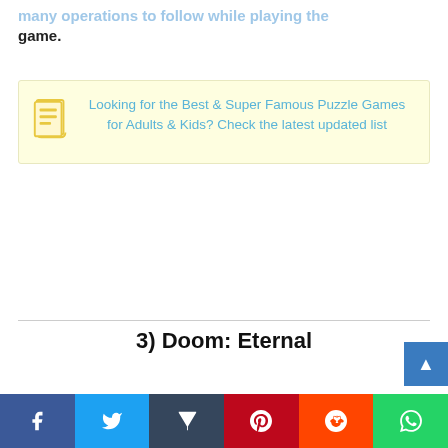many operations to follow while playing the game.
[Figure (infographic): Yellow callout box with document icon and text: Looking for the Best & Super Famous Puzzle Games for Adults & Kids? Check the latest updated list]
Website
3) Doom: Eternal
[Figure (infographic): Social share bar with Facebook, Twitter, Tumblr, Pinterest, Reddit, WhatsApp buttons]